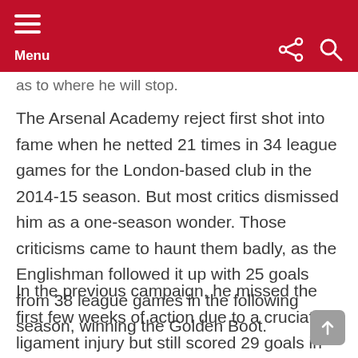Menu
as to where he will stop.
The Arsenal Academy reject first shot into fame when he netted 21 times in 34 league games for the London-based club in the 2014-15 season. But most critics dismissed him as a one-season wonder. Those criticisms came to haunt them badly, as the Englishman followed it up with 25 goals from 38 league games in the following season, winning the Golden Boot.
In the previous campaign, he missed the first few weeks of action due to a cruciate ligament injury but still scored 29 goals in 30 appearances, at an